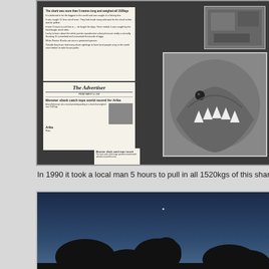[Figure (photo): Framed display board with newspaper clippings about a shark catch and black-and-white photographs of a large shark]
In 1990 it took a local man 5 hours to pull in all 1520kgs of this shark, breaking t
[Figure (photo): Night sky photograph showing silhouetted trees against a dark blue sky with a single star or light visible]